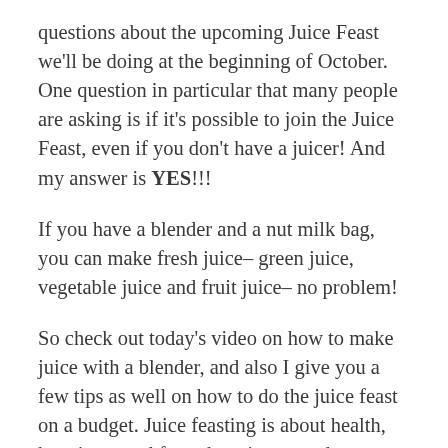questions about the upcoming Juice Feast we'll be doing at the beginning of October. One question in particular that many people are asking is if it's possible to join the Juice Feast, even if you don't have a juicer! And my answer is YES!!!
If you have a blender and a nut milk bag, you can make fresh juice– green juice, vegetable juice and fruit juice– no problem!
So check out today's video on how to make juice with a blender, and also I give you a few tips as well on how to do the juice feast on a budget. Juice feasting is about health, happiness and fun– there is no need to worry about affording the produce for the juices– there is always a way of finding and using cheap greens